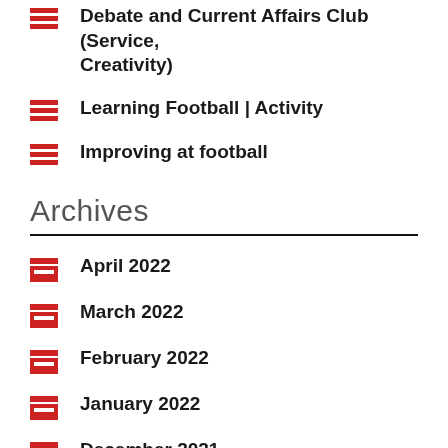Debate and Current Affairs Club (Service, Creativity)
Learning Football | Activity
Improving at football
Archives
April 2022
March 2022
February 2022
January 2022
December 2021
November 2021